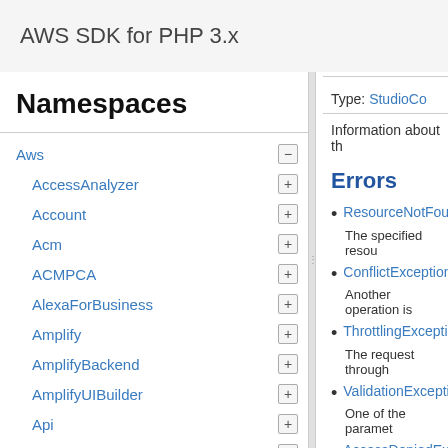AWS SDK for PHP 3.x
Namespaces
Aws
AccessAnalyzer
Account
Acm
ACMPCA
AlexaForBusiness
Amplify
AmplifyBackend
AmplifyUIBuilder
Api
ApiGateway
ApiGatewayManagementApi
Type: StudioCo
Information about th
Errors
ResourceNotFound
The specified resou
ConflictException:
Another operation is
ThrottlingException
The request through
ValidationException
One of the paramet
AccessDeniedExce